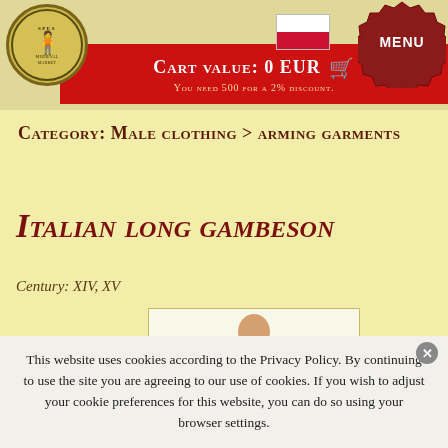[Figure (logo): Spes Medieval Market circular logo with figure in red robe]
[Figure (illustration): Polish flag - white and red horizontal stripes]
[Figure (illustration): Red wax seal with MENU text]
Cart value: 0 EUR
You need 500 for a 2% discount.
Category: Male clothing > arming garments
Italian long gambeson
Century: XIV, XV
[Figure (photo): Man wearing red long gambeson arming garment]
This website uses cookies according to the Privacy Policy. By continuing to use the site you are agreeing to our use of cookies. If you wish to adjust your cookie preferences for this website, you can do so using your browser settings.